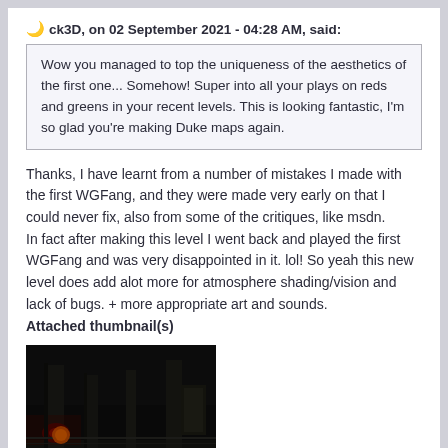ck3D, on 02 September 2021 - 04:28 AM, said:
Wow you managed to top the uniqueness of the aesthetics of the first one... Somehow! Super into all your plays on reds and greens in your recent levels. This is looking fantastic, I'm so glad you're making Duke maps again.
Thanks, I have learnt from a number of mistakes I made with the first WGFang, and they were made very early on that I could never fix, also from some of the critiques, like msdn.
In fact after making this level I went back and played the first WGFang and was very disappointed in it. lol! So yeah this new level does add alot more for atmosphere shading/vision and lack of bugs. + more appropriate art and sounds.
Attached thumbnail(s)
[Figure (screenshot): Dark game screenshot showing a dimly lit scene with red and dark tones, appearing to be from a first-person game level.]